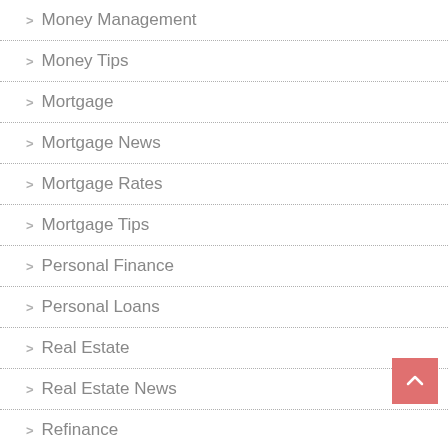Money Management
Money Tips
Mortgage
Mortgage News
Mortgage Rates
Mortgage Tips
Personal Finance
Personal Loans
Real Estate
Real Estate News
Refinance
Renting
Rewrite Care Tips